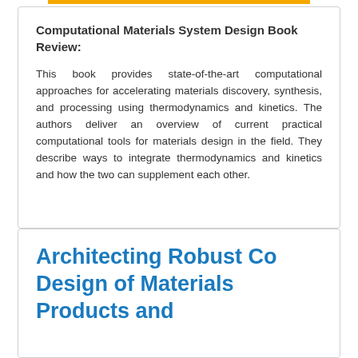Computational Materials System Design Book Review:
This book provides state-of-the-art computational approaches for accelerating materials discovery, synthesis, and processing using thermodynamics and kinetics. The authors deliver an overview of current practical computational tools for materials design in the field. They describe ways to integrate thermodynamics and kinetics and how the two can supplement each other.
Architecting Robust Co Design of Materials Products and